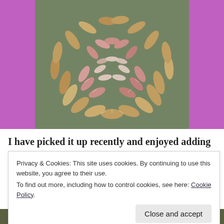[Figure (photo): A green/olive fabric cushion or cloth with decorative leaf/petal appliqué pattern in shades of gold, pink, and white, arranged in a radiating sunburst design. The fabric is placed on a bright purple background.]
I have picked it up recently and enjoyed adding
Privacy & Cookies: This site uses cookies. By continuing to use this website, you agree to their use.
To find out more, including how to control cookies, see here: Cookie Policy
[Figure (photo): Partial view of another textile/fabric item at the bottom of the page.]